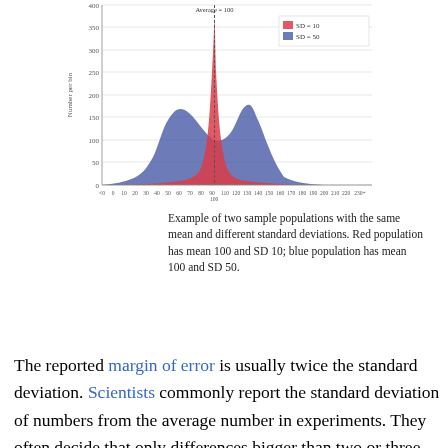[Figure (continuous-plot): Two overlapping distribution curves (area charts): a tall narrow red curve (SD=10) and a wide short blue curve (SD=50), both centered at mean=100. Y-axis labeled 'Number per bin' with values 0-400. X-axis shows values from <0 to 230+. A dashed vertical line marks the average=100. Legend shows red SD=10 and blue SD=50.]
Example of two sample populations with the same mean and different standard deviations. Red population has mean 100 and SD 10; blue population has mean 100 and SD 50.
The reported margin of error is usually twice the standard deviation. Scientists commonly report the standard deviation of numbers from the average number in experiments. They often decide that only differences bigger than two or three times the standard deviation are important. Standard deviation is also useful in money, where the standard deviation on interest earned shows